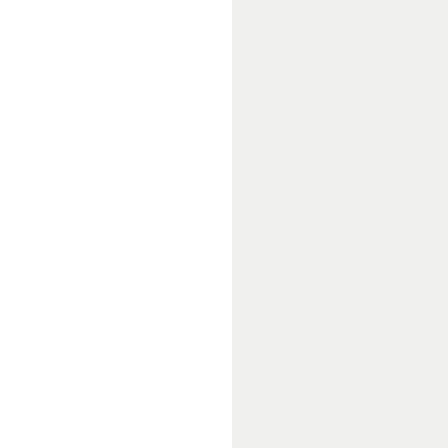O G E ]
RE
DI
||
RE
FO
||
RE
GI
||
MI
GI
||
RE
CO
We